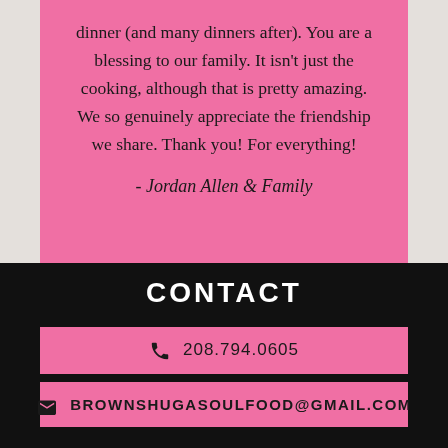dinner (and many dinners after). You are a blessing to our family. It isn't just the cooking, although that is pretty amazing. We so genuinely appreciate the friendship we share. Thank you! For everything!

- Jordan Allen & Family
CONTACT
208.794.0605
BROWNSHUGASOULFOOD@GMAIL.COM